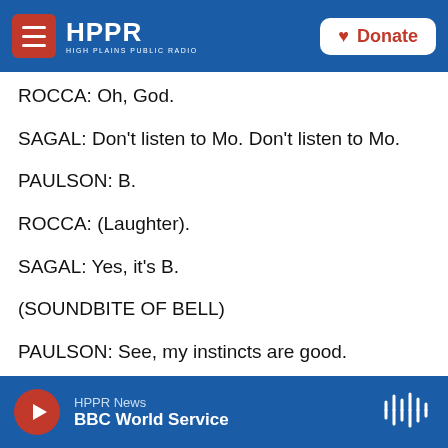HPPR — HIGH PLAINS PUBLIC RADIO — Donate
ROCCA: Oh, God.
SAGAL: Don't listen to Mo. Don't listen to Mo.
PAULSON: B.
ROCCA: (Laughter).
SAGAL: Yes, it's B.
(SOUNDBITE OF BELL)
PAULSON: See, my instincts are good.
(SOUNDBITE OF APPLAUSE SOUND EFFECT)
HPPR News — BBC World Service